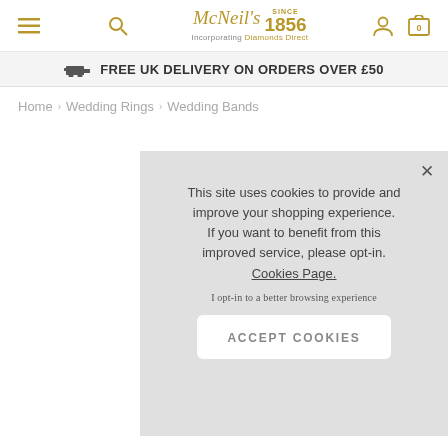McNeil's Since 1856 Incorporating Diamonds Direct
FREE UK DELIVERY ON ORDERS OVER £50
Home › Wedding Rings › Wedding Bands
This site uses cookies to provide and improve your shopping experience. If you want to benefit from this improved service, please opt-in. Cookies Page.

I opt-in to a better browsing experience

ACCEPT COOKIES